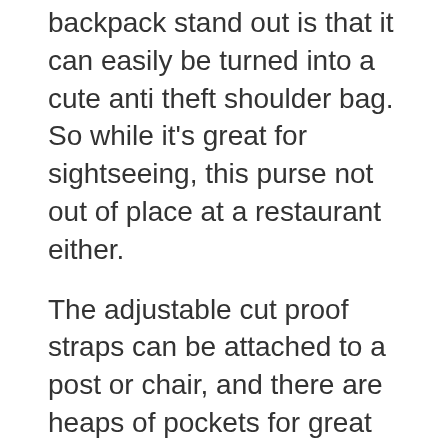One of the things that makes this backpack stand out is that it can easily be turned into a cute anti theft shoulder bag. So while it's great for sightseeing, this purse not out of place at a restaurant either.
The adjustable cut proof straps can be attached to a post or chair, and there are heaps of pockets for great organisation including a battery packpocket.
[Figure (other): Advertisement block with 'Search for' header and eye icon, listing two items: 1. TRAVEL TOTE BAGS with chevron, 2. FREE BAG PATTERNS with chevron, and footer showing 'Ad | Business Focus' with an icon.]